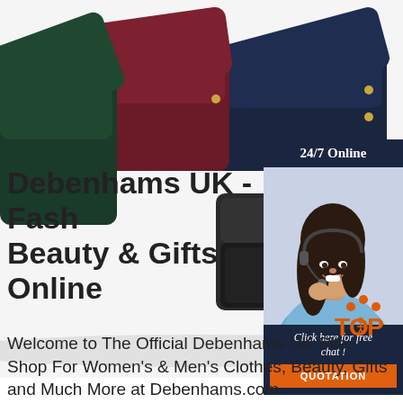[Figure (photo): Product photo of multiple jewelry/trinket boxes in dark green, burgundy/maroon, and dark navy colors, with one open box displaying pearl and gold brooches inside. White background.]
[Figure (infographic): Chat widget overlay panel on the right side. Dark navy header reads '24/7 Online'. Below is a photo of a smiling woman with dark hair wearing a headset and light blue shirt. Below her image is dark navy text 'Click here for free chat !' and an orange button labeled 'QUOTATION'.]
Debenhams UK - Fashion, Beauty & Gifts Online
[Figure (logo): TOP logo - orange dots arranged in a triangle/arch above the letters 'TOP' in orange, with a small person figure integrated.]
Welcome to The Official Debenhams UK Site. Shop For Women's & Men's Clothes, Beauty, Gifts and Much More at Debenhams.com.